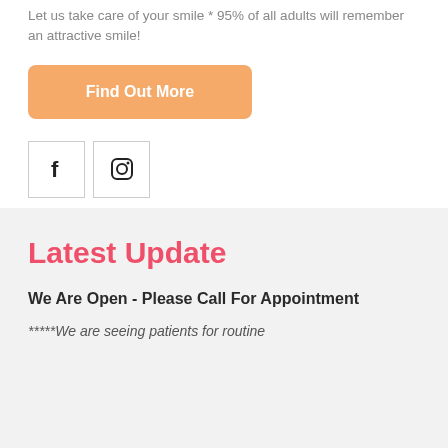Let us take care of your smile * 95% of all adults will remember an attractive smile!
Find Out More
[Figure (logo): Facebook icon in a bordered square box]
[Figure (logo): Instagram icon in a bordered square box]
Latest Update
We Are Open - Please Call For Appointment
*****We are seeing patients for routine